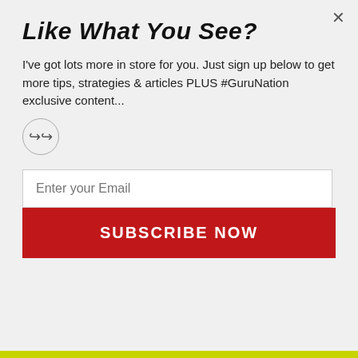Like What You See?
I've got lots more in store for you. Just sign up below to get more tips, strategies & articles PLUS #GuruNation exclusive content...
Enter your Email
SUBSCRIBE NOW
pickleball (6)
pickleball help (7)
The No-Volley Zone (6)
pickleball bootcamp (5)
The Dink Shot (4)
The Drop Shot (4)
Practice & Drills (4)
Guest Posts (4)